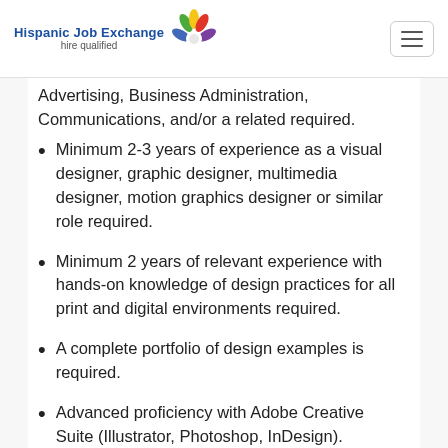Hispanic Job Exchange hire qualified
Advertising, Business Administration, Communications, and/or a related required.
Minimum 2-3 years of experience as a visual designer, graphic designer, multimedia designer, motion graphics designer or similar role required.
Minimum 2 years of relevant experience with hands-on knowledge of design practices for all print and digital environments required.
A complete portfolio of design examples is required.
Advanced proficiency with Adobe Creative Suite (Illustrator, Photoshop, InDesign).